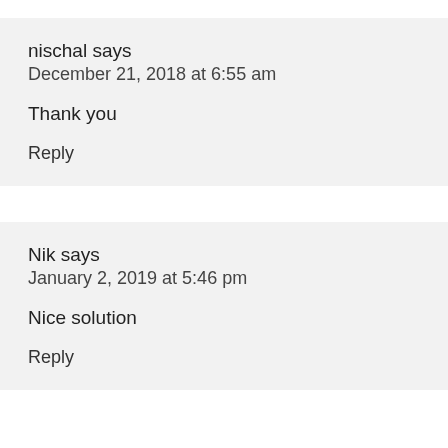nischal says
December 21, 2018 at 6:55 am
Thank you
Reply
Nik says
January 2, 2019 at 5:46 pm
Nice solution
Reply